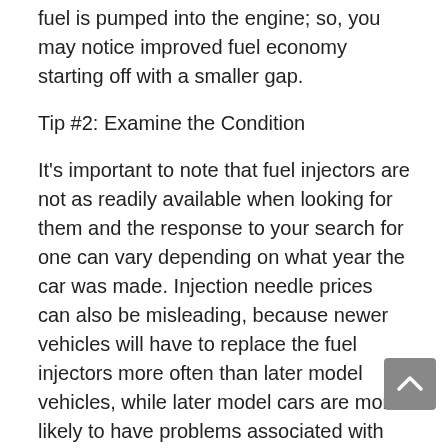fuel is pumped into the engine; so, you may notice improved fuel economy starting off with a smaller gap.
Tip #2: Examine the Condition
It's important to note that fuel injectors are not as readily available when looking for them and the response to your search for one can vary depending on what year the car was made. Injection needle prices can also be misleading, because newer vehicles will have to replace the fuel injectors more often than later model vehicles, while later model cars are more likely to have problems associated with their sequential lack of grease, dirt and oils. Injection nozzle prices are more easily acquainted because both are part of the same system, but if the fuel injector looks as if it's been severely damaged, it probably is. [link text] Injectors are one of the most important parts of your car, so don't be fooled by anodized, carriers. If